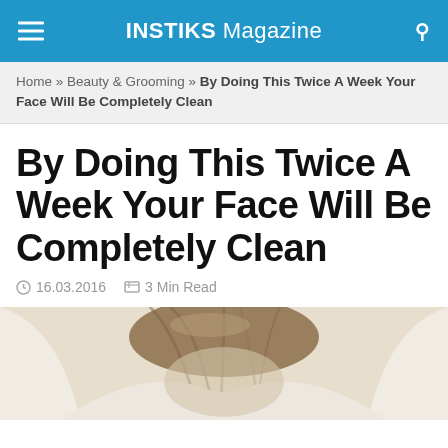INSTIKS Magazine
Home » Beauty & Grooming » By Doing This Twice A Week Your Face Will Be Completely Clean
By Doing This Twice A Week Your Face Will Be Completely Clean
16.03.2016   3 Min Read
[Figure (photo): Top-down view of a person with brown hair pulled back, wrapped in a white towel or robe, face not visible]